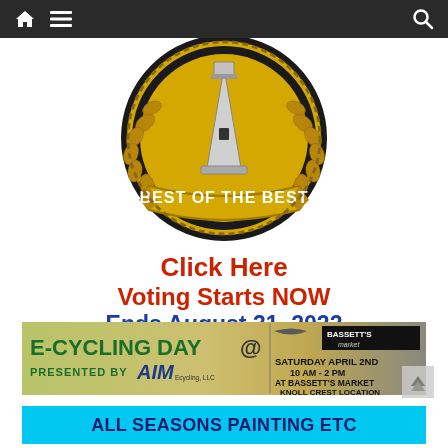Navigation bar with home, menu, and search icons
[Figure (logo): Best of the Best award badge — gold circular emblem with laurel wreath, lighthouse in center, black banner reading BEST OF THE BEST]
Click Here
Voting Starts NOW
Ends August 31, 2022
[Figure (infographic): E-Cycling Day @ Bassett's Market banner. Presented by AIM Ecycling LLC. Saturday April 2nd 10 AM - 2 PM at Bassett's Market Knoll Crest Location.]
ALL SEASONS PAINTING ETC